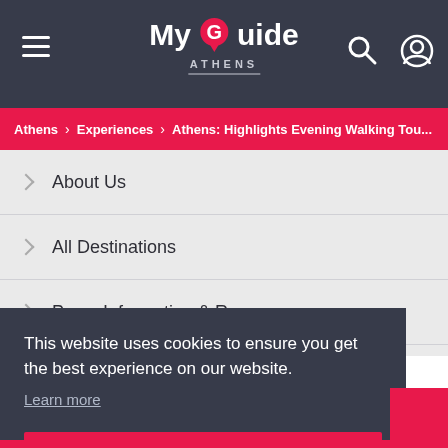My Guide ATHENS
Athens > Experiences > Athens: Highlights Evening Walking Tou...
About Us
All Destinations
Press Information & Resources
Franchise Opportunit...
This website uses cookies to ensure you get the best experience on our website. Learn more
Got it!